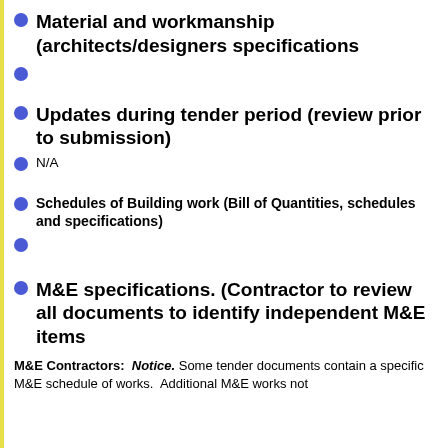Material and workmanship (architects/designers specifications
Updates during tender period (review prior to submission)
N/A
Schedules of Building work (Bill of Quantities, schedules and specifications)
M&E specifications. (Contractor to review all documents to identify independent M&E items
M&E Contractors:  Notice. Some tender documents contain a specific M&E schedule of works.  Additional M&E works not